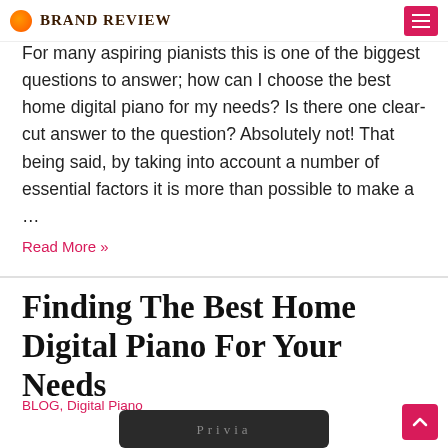BRAND REVIEW
For many aspiring pianists this is one of the biggest questions to answer; how can I choose the best home digital piano for my needs? Is there one clear-cut answer to the question? Absolutely not! That being said, by taking into account a number of essential factors it is more than possible to make a …
Read More »
Finding The Best Home Digital Piano For Your Needs
BLOG, Digital Piano
[Figure (photo): Bottom portion of a Casio Privia digital piano keyboard, partially cropped at the bottom of the page]